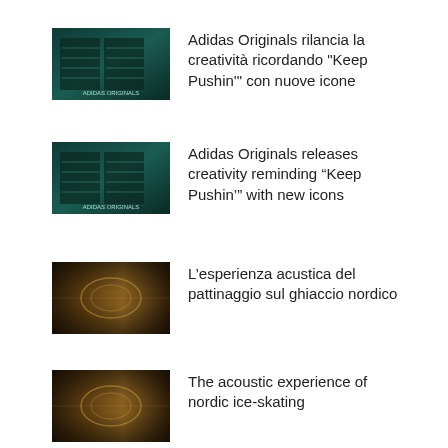[Figure (photo): Thumbnail image with dark teal/green tones showing stylized graphic]
Adidas Originals rilancia la creatività ricordando "Keep Pushin'" con nuove icone
[Figure (photo): Thumbnail image with dark teal/green tones showing stylized graphic]
Adidas Originals releases creativity reminding “Keep Pushin’” with new icons
[Figure (photo): Thumbnail image with dark brown/gold textured pattern]
L’esperienza acustica del pattinaggio sul ghiaccio nordico
[Figure (photo): Thumbnail image with dark brown/gold textured pattern]
The acoustic experience of nordic ice-skating